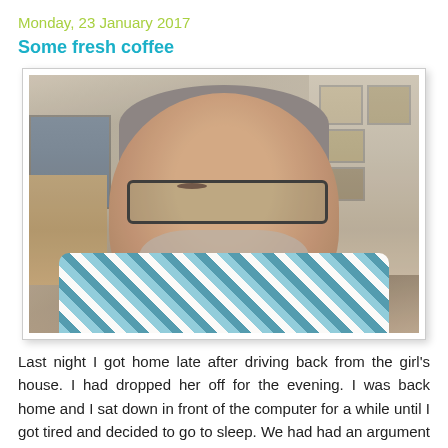Monday, 23 January 2017
Some fresh coffee
[Figure (photo): Selfie of a middle-aged man with grey hair, glasses, and a grey beard, wearing a blue plaid shirt, taken indoors with furniture and framed pictures visible in the background.]
Last night I got home late after driving back from the girl's house. I had dropped her off for the evening. I was back home and I sat down in front of the computer for a while until I got tired and decided to go to sleep. We had had an argument and I was feeling vulnerable. We had argued